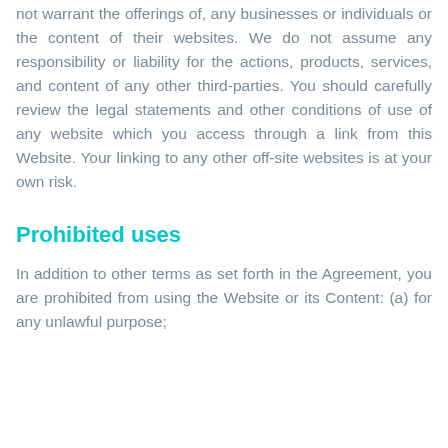not warrant the offerings of, any businesses or individuals or the content of their websites. We do not assume any responsibility or liability for the actions, products, services, and content of any other third-parties. You should carefully review the legal statements and other conditions of use of any website which you access through a link from this Website. Your linking to any other off-site websites is at your own risk.
Prohibited uses
In addition to other terms as set forth in the Agreement, you are prohibited from using the Website or its Content: (a) for any unlawful purpose;